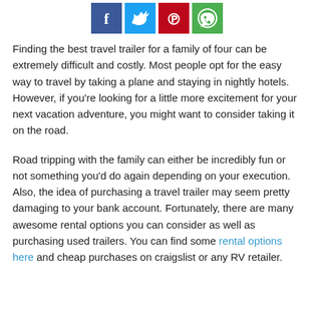[Figure (other): Social media sharing buttons: Facebook (blue), Twitter (light blue), Pinterest (red), WhatsApp (green)]
Finding the best travel trailer for a family of four can be extremely difficult and costly. Most people opt for the easy way to travel by taking a plane and staying in nightly hotels. However, if you're looking for a little more excitement for your next vacation adventure, you might want to consider taking it on the road.
Road tripping with the family can either be incredibly fun or not something you'd do again depending on your execution. Also, the idea of purchasing a travel trailer may seem pretty damaging to your bank account. Fortunately, there are many awesome rental options you can consider as well as purchasing used trailers. You can find some rental options here and cheap purchases on craigslist or any RV retailer.